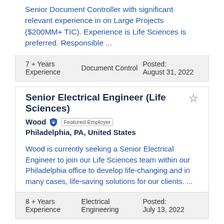Senior Document Controller with significant relevant experience in on Large Projects ($200MM+ TIC). Experience is Life Sciences is preferred. Responsible ...
| Experience | Category | Posted |
| --- | --- | --- |
| 7 + Years Experience | Document Control | Posted: August 31, 2022 |
Senior Electrical Engineer (Life Sciences)
Wood  Featured Employer
Philadelphia, PA, United States
Wood is currently seeking a Senior Electrical Engineer to join our Life Sciences team within our Philadelphia office to develop life-changing and in many cases, life-saving solutions for our clients. ...
| Experience | Category | Posted |
| --- | --- | --- |
| 8 + Years Experience | Electrical Engineering | Posted: July 13, 2022 |
Architect - (Life Sciences) - remote opportunity